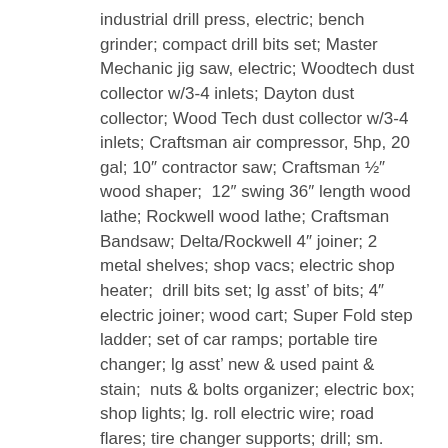industrial drill press, electric; bench grinder; compact drill bits set; Master Mechanic jig saw, electric; Woodtech dust collector w/3-4 inlets; Dayton dust collector; Wood Tech dust collector w/3-4 inlets; Craftsman air compressor, 5hp, 20 gal; 10″ contractor saw; Craftsman ½″ wood shaper;  12″ swing 36″ length wood lathe; Rockwell wood lathe; Craftsman Bandsaw; Delta/Rockwell 4″ joiner; 2 metal shelves; shop vacs; electric shop heater;  drill bits set; lg asst' of bits; 4″ electric joiner; wood cart; Super Fold step ladder; set of car ramps; portable tire changer; lg asst' new & used paint & stain;  nuts & bolts organizer; electric box; shop lights; lg. roll electric wire; road flares; tire changer supports; drill; sm. asst' of hand tools; spray guns; plus more
LAWN & GARDEN: Yard Machine 24″ snow blower; Husqvarna leaf blower, electric; Ryobi weed trimmer; backpack weed sprayer;  wheelbarrow; 4 rolls of